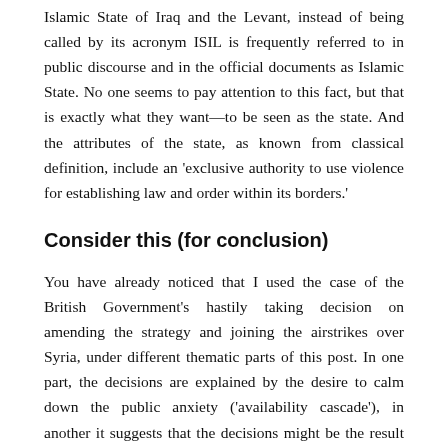Islamic State of Iraq and the Levant, instead of being called by its acronym ISIL is frequently referred to in public discourse and in the official documents as Islamic State. No one seems to pay attention to this fact, but that is exactly what they want—to be seen as the state. And the attributes of the state, as known from classical definition, include an 'exclusive authority to use violence for establishing law and order within its borders.'
Consider this (for conclusion)
You have already noticed that I used the case of the British Government's hastily taking decision on amending the strategy and joining the airstrikes over Syria, under different thematic parts of this post. In one part, the decisions are explained by the desire to calm down the public anxiety ('availability cascade'), in another it suggests that the decisions might be the result of political maneuvering of the